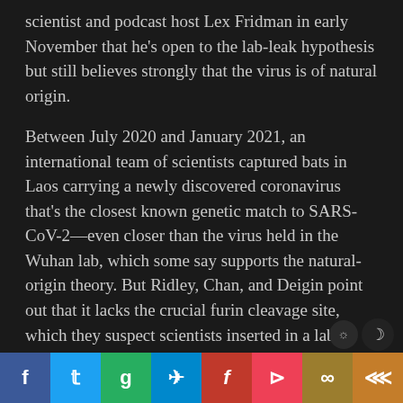scientist and podcast host Lex Fridman in early November that he's open to the lab-leak hypothesis but still believes strongly that the virus is of natural origin.
Between July 2020 and January 2021, an international team of scientists captured bats in Laos carrying a newly discovered coronavirus that's the closest known genetic match to SARS-CoV-2—even closer than the virus held in the Wuhan lab, which some say supports the natural-origin theory. But Ridley, Chan, and Deigin point out that it lacks the crucial furin cleavage site, which they suspect scientists inserted in a lab.